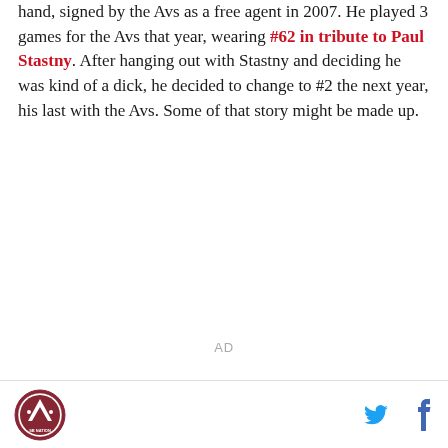hand, signed by the Avs as a free agent in 2007. He played 3 games for the Avs that year, wearing #62 in tribute to Paul Stastny. After hanging out with Stastny and deciding he was kind of a dick, he decided to change to #2 the next year, his last with the Avs. Some of that story might be made up.
AD
Logo and social icons